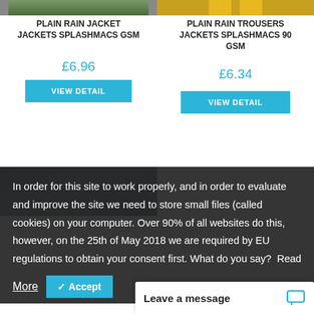[Figure (photo): Partial product image at top left (rain jacket in outdoor setting)]
PLAIN RAIN JACKET JACKETS SPLASHMACS GSM
£6.96
VIEW DETAIL
[Figure (photo): Partial product image at top right (yellow rain trousers)]
PLAIN RAIN TROUSERS JACKETS SPLASHMACS 90 GSM
£6.34
VIEW DETAIL
[Figure (photo): Product photo partially visible behind cookie consent overlay]
In order for this site to work properly, and in order to evaluate and improve the site we need to store small files (called cookies) on your computer. Over 90% of all websites do this, however, on the 25th of May 2018 we are required by EU regulations to obtain your consent first. What do you say?  Read
More
✓ Accept
Leave a message